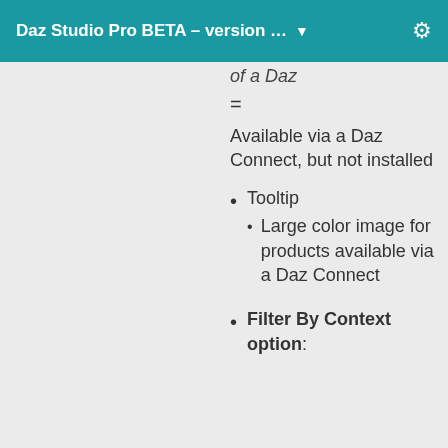Daz Studio Pro BETA – version … ▼
= Available via a Daz Connect, but not installed
Tooltip
Large color image for products available via a Daz Connect
Filter By Context option: